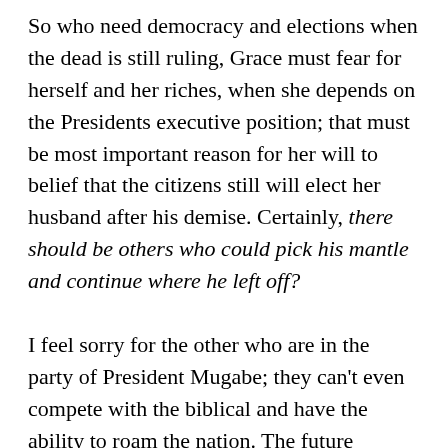So who need democracy and elections when the dead is still ruling, Grace must fear for herself and her riches, when she depends on the Presidents executive position; that must be most important reason for her will to belief that the citizens still will elect her husband after his demise. Certainly, there should be others who could pick his mantle and continue where he left off?

I feel sorry for the other who are in the party of President Mugabe; they can't even compete with the biblical and have the ability to roam the nation. The future leaders and the ones coming after must feel passed over. The youth and the ones in Zanu-PF must feel like they are walked over. Certainly, it must